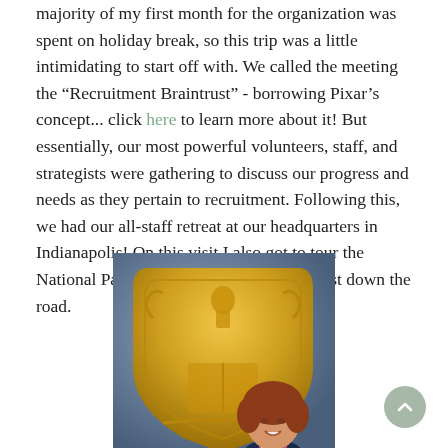majority of my first month for the organization was spent on holiday break, so this trip was a little intimidating to start off with. We called the meeting the "Recruitment Braintrust" - borrowing Pixar's concept... click here to learn more about it! But essentially, our most powerful volunteers, staff, and strategists were gathering to discuss our progress and needs as they pertain to recruitment. Following this, we had our all-staff retreat at our headquarters in Indianapolis! On this visit I also got to tour the National Panhellenic Conference office just down the road.
[Figure (photo): A woman with auburn/red hair smiling and standing in front of a large gold shield-shaped emblem or crest, set against a blue-grey background. The woman is wearing a dark navy blazer over a colorful patterned top.]